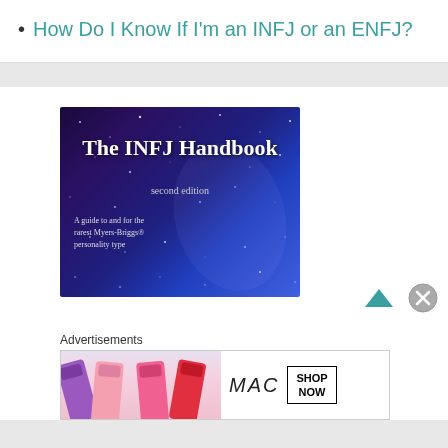How Do I Know If I'm an INFJ or an ENFJ?
[Figure (illustration): Book cover of 'The INFJ Handbook, second edition — A guide to and for the rarest Myers-Briggs® personality type' with a dark blue/purple starry galaxy background.]
Advertisements
[Figure (photo): MAC Cosmetics advertisement banner showing colorful lipsticks and 'SHOP NOW' text.]